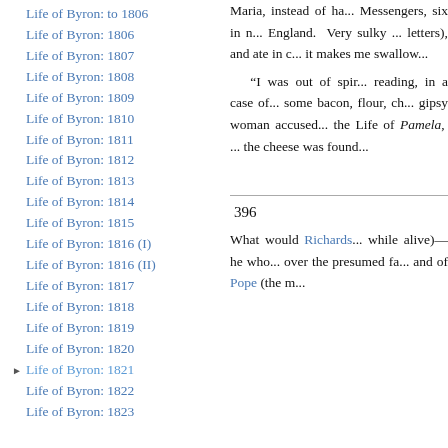Life of Byron: to 1806
Life of Byron: 1806
Life of Byron: 1807
Life of Byron: 1808
Life of Byron: 1809
Life of Byron: 1810
Life of Byron: 1811
Life of Byron: 1812
Life of Byron: 1813
Life of Byron: 1814
Life of Byron: 1815
Life of Byron: 1816 (I)
Life of Byron: 1816 (II)
Life of Byron: 1817
Life of Byron: 1818
Life of Byron: 1819
Life of Byron: 1820
Life of Byron: 1821
Life of Byron: 1822
Life of Byron: 1823
Maria, instead of ha... Messengers, six in n... England. Very sulky... letters), and ate in c... it makes me swallow...
“I was out of spir... reading, in a case of... some bacon, flour, ch... gipsy woman accused... the Life of Pamela,... the cheese was found...
396
What would Richards... while alive)—he who... over the presumed fa... and of Pope (the m...